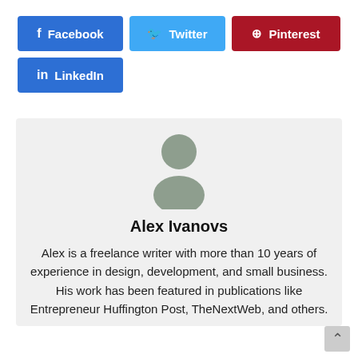[Figure (other): Row of social share buttons: Facebook (blue), Twitter (light blue), Pinterest (dark red), LinkedIn (blue)]
[Figure (illustration): Generic user avatar silhouette in grey/olive color]
Alex Ivanovs
Alex is a freelance writer with more than 10 years of experience in design, development, and small business. His work has been featured in publications like Entrepreneur Huffington Post, TheNextWeb, and others.